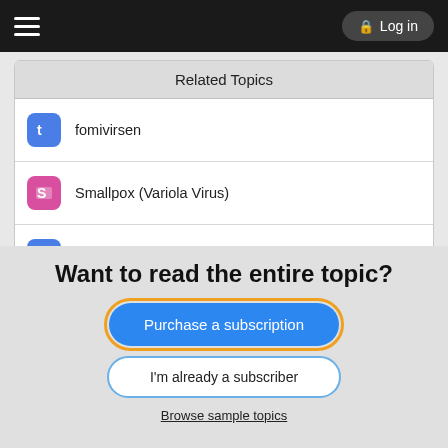Log in
Related Topics
fomivirsen
Smallpox (Variola Virus)
lamivudine/tenofovir disoproxil fumarate
Renal failure in HIV/AIDS
Cytomegalovirus (CMV) Inclusion Disease
Want to read the entire topic?
Purchase a subscription
I'm already a subscriber
Browse sample topics